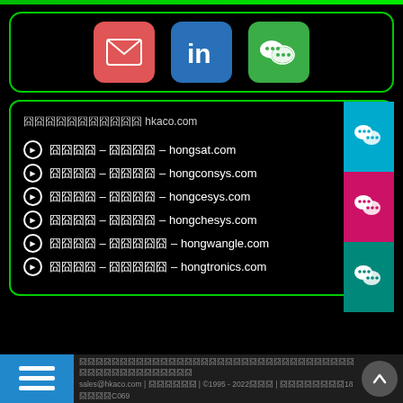[Figure (infographic): Social media icon buttons: red email envelope, blue LinkedIn 'in' logo, green WeChat logo]
囧囧囧囧囧囧囧囧囧 hkaco.com
⊕囧囧囧 – 囧囧囧 – hongsat.com
⊕囧囧囧 – 囧囧囧 – hongconsys.com
⊕囧囧囧 – 囧囧囧 – hongcesys.com
⊕囧囧囧 – 囧囧囧 – hongchesys.com
⊕囧囧囧 – 囧囧囧囧 – hongwangle.com
⊕囧囧囧 – 囧囧囧囧 – hongtronics.com
sales@hkaco.com | 囧囧囧囧囧囧 | ©1995 - 2022囧囧囧 | 囧囧囧囧囧囧囧囧18囧囧囧囧C069